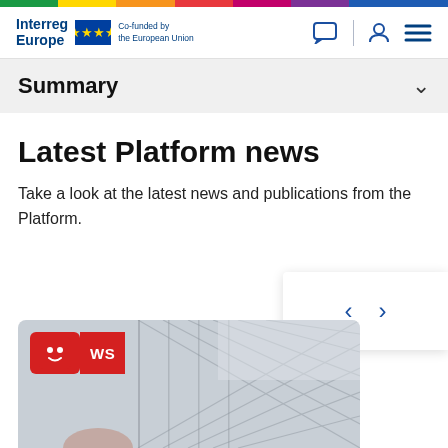[Figure (screenshot): Interreg Europe website header with rainbow bar, logo, EU flag, Co-funded by the European Union text, navigation icons]
Summary
Latest Platform news
Take a look at the latest news and publications from the Platform.
[Figure (screenshot): Navigation carousel arrows with left and right chevrons on white card]
[Figure (photo): News card image showing architectural interior (train station/building with diagonal lines), with red NEWS badge overlay]